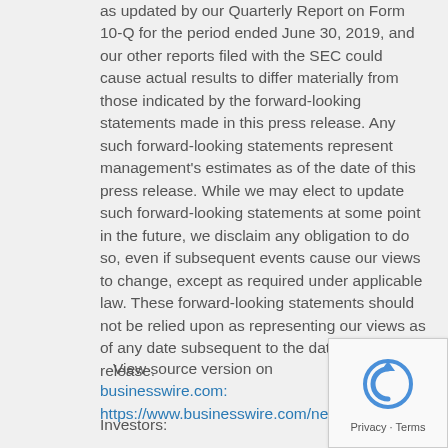as updated by our Quarterly Report on Form 10-Q for the period ended June 30, 2019, and our other reports filed with the SEC could cause actual results to differ materially from those indicated by the forward-looking statements made in this press release. Any such forward-looking statements represent management's estimates as of the date of this press release. While we may elect to update such forward-looking statements at some point in the future, we disclaim any obligation to do so, even if subsequent events cause our views to change, except as required under applicable law. These forward-looking statements should not be relied upon as representing our views as of any date subsequent to the date of this press release.
View source version on businesswire.com: https://www.businesswire.com/news/home/2019
Investors: